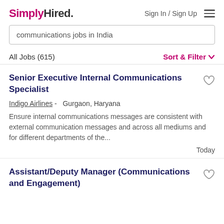SimplyHired. Sign In / Sign Up
communications jobs in India
All Jobs (615)   Sort & Filter
Senior Executive Internal Communications Specialist
Indigo Airlines -  Gurgaon, Haryana
Ensure internal communications messages are consistent with external communication messages and across all mediums and for different departments of the...
Today
Assistant/Deputy Manager (Communications and Engagement)